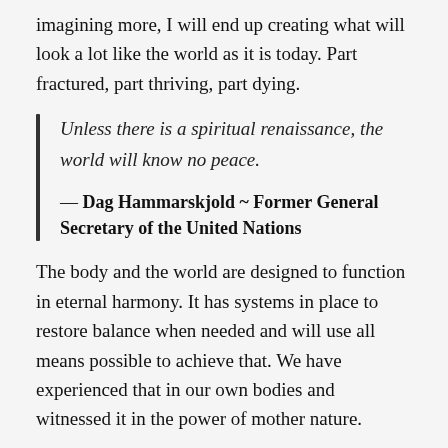imagining more, I will end up creating what will look a lot like the world as it is today. Part fractured, part thriving, part dying.
Unless there is a spiritual renaissance, the world will know no peace.
— Dag Hammarskjold ~ Former General Secretary of the United Nations
The body and the world are designed to function in eternal harmony. It has systems in place to restore balance when needed and will use all means possible to achieve that. We have experienced that in our own bodies and witnessed it in the power of mother nature.
All we have to do is what we do best, our best. Look after...